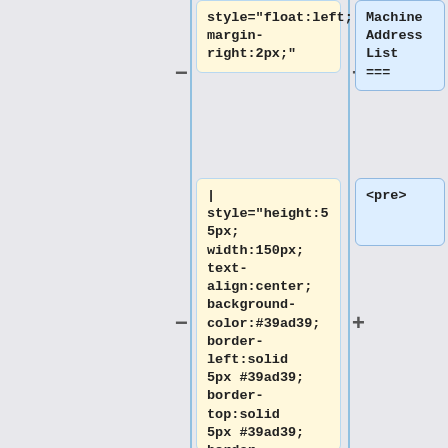style="float:left; margin-right:2px;"
Machine Address List ===
| style="height:55px; width:150px; text-align:center; background-color:#39ad39; border-left:solid 5px #39ad39; border-top:solid 5px #39ad39; border-bottom:solid 1px white; border-right:solid 5px #39ad39; font-size:120%;" |
<pre>